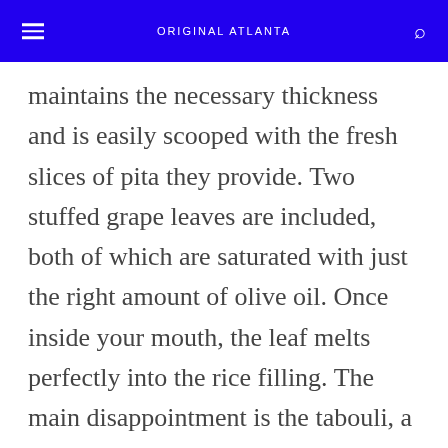ORIGINAL ATLANTA
maintains the necessary thickness and is easily scooped with the fresh slices of pita they provide. Two stuffed grape leaves are included, both of which are saturated with just the right amount of olive oil. Once inside your mouth, the leaf melts perfectly into the rice filling. The main disappointment is the tabouli, a dry, coarse blend of fresh chopped parsley, onions, cous cous, olive oil and lemon juice. Only it seems they've forgotten the